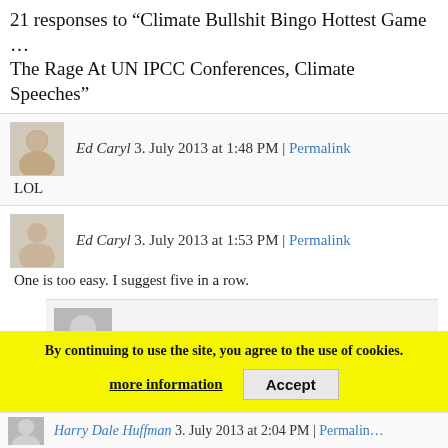21 responses to “Climate Bullshit Bingo Hottest Game … The Rage At UN IPCC Conferences, Climate Speeches…”
Ed Caryl 3. July 2013 at 1:48 PM | Permalink
LOL
Ed Caryl 3. July 2013 at 1:53 PM | Permalink
One is too easy. I suggest five in a row.
P Gosselin 3. July 2013 at 2:02 PM | Permalink
Thanks Ed, I forgot to check the rule book. – fixed.
By continuing to use the site, you agree to the use of cookies.
more information  Accept
Harry Dale Huffman 3. July 2013 at 2:04 PM | Permalin…